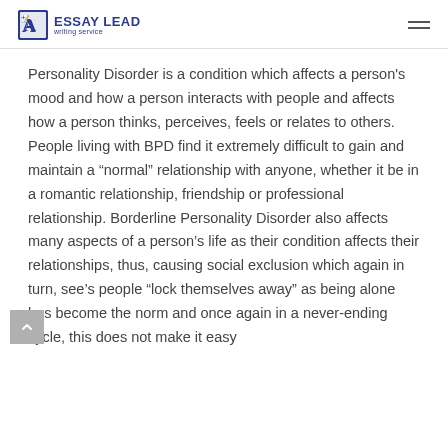ESSAY LEAD writing service
Personality Disorder is a condition which affects a person's mood and how a person interacts with people and affects how a person thinks, perceives, feels or relates to others. People living with BPD find it extremely difficult to gain and maintain a “normal” relationship with anyone, whether it be in a romantic relationship, friendship or professional relationship. Borderline Personality Disorder also affects many aspects of a person’s life as their condition affects their relationships, thus, causing social exclusion which again in turn, see’s people “lock themselves away” as being alone has become the norm and once again in a never-ending cycle, this does not make it easy